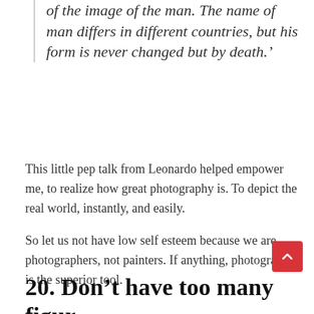of the image of the man. The name of man differs in different countries, but his form is never changed but by death.'
This little pep talk from Leonardo helped empower me, to realize how great photography is. To depict the real world, instantly, and easily.
So let us not have low self esteem because we are photographers, not painters. If anything, photography is the superior tool.
20. Don't have too many figures in your frame